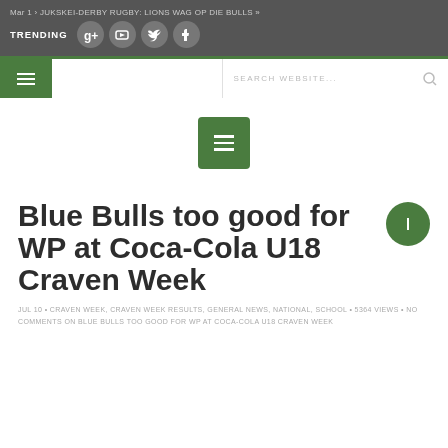Mar 1 › JUKSKEI-DERBY RUGBY: LIONS WAG OP DIE BULLS »
[Figure (screenshot): Social media icons: Google+, YouTube, Twitter, Facebook with TRENDING label]
[Figure (screenshot): Navigation bar with hamburger menu button (green) on left and search bar on right]
[Figure (screenshot): Green hamburger menu button centered in white ad/content area]
Blue Bulls too good for WP at Coca-Cola U18 Craven Week
JUL 10 • CRAVEN WEEK, CRAVEN WEEK RESULTS, GENERAL NEWS, NATIONAL, SCHOOL • 5364 VIEWS • NO COMMENTS ON BLUE BULLS TOO GOOD FOR WP AT COCA-COLA U18 CRAVEN WEEK